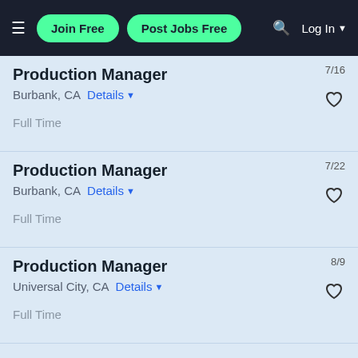Join Free  Post Jobs Free  Log In
Production Manager
Burbank, CA  Details
Full Time
7/16
Production Manager
Burbank, CA  Details
Full Time
7/22
Production Manager
Universal City, CA  Details
Full Time
8/9